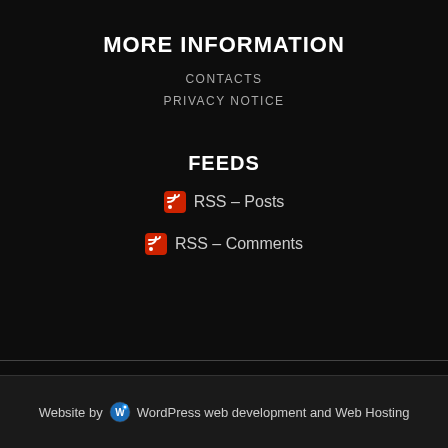MORE INFORMATION
CONTACTS
PRIVACY NOTICE
FEEDS
RSS – Posts
RSS – Comments
Website by WordPress web development and Web Hosting